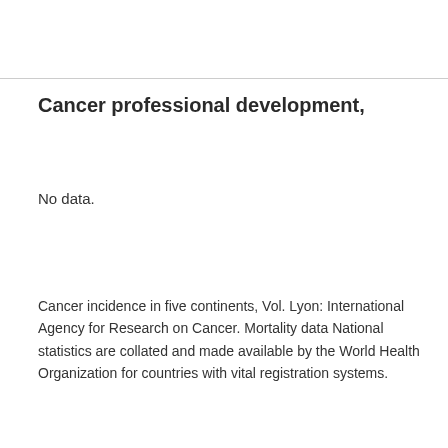Cancer professional development,
No data.
Cancer incidence in five continents, Vol. Lyon: International Agency for Research on Cancer. Mortality data National statistics are collated and made available by the World Health Organization for countries with vital registration systems.